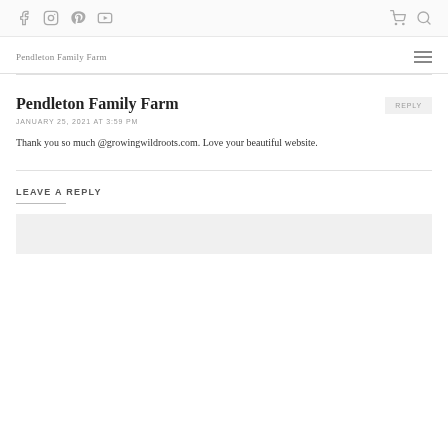Pendleton Family Farm — navigation with social icons, cart, search, and hamburger menu
Pendleton Family Farm
JANUARY 25, 2021 AT 3:59 PM
Thank you so much @growingwildroots.com. Love your beautiful website.
LEAVE A REPLY